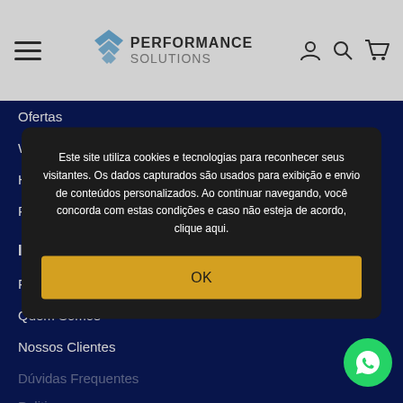Performance Solutions — navigation header with hamburger menu, logo, and icons
Ofertas
Workstations
Hardware
Periféricos
INSTITUCIONAL
Fale Conosco
Quem Somos
Nossos Clientes
Dúvidas Frequentes
Política...
Prazo...
Este site utiliza cookies e tecnologias para reconhecer seus visitantes. Os dados capturados são usados para exibição e envio de conteúdos personalizados. Ao continuar navegando, você concorda com estas condições e caso não esteja de acordo, clique aqui.
OK